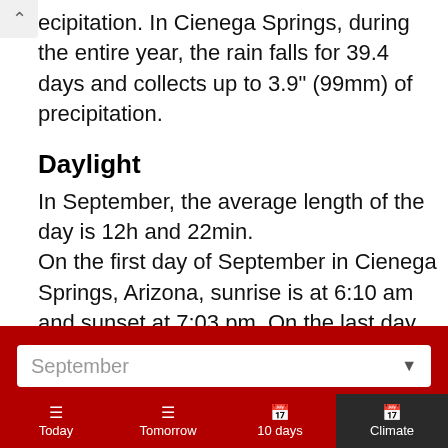ecipitation. In Cienega Springs, during the entire year, the rain falls for 39.4 days and collects up to 3.9" (99mm) of precipitation.
Daylight
In September, the average length of the day is 12h and 22min.
On the first day of September in Cienega Springs, Arizona, sunrise is at 6:10 am and sunset at 7:03 pm. On the last day of the month, sunrise is at 6:30 am and sunset at 6:22 pm MST.
September
Today  Tomorrow  10 days  Climate